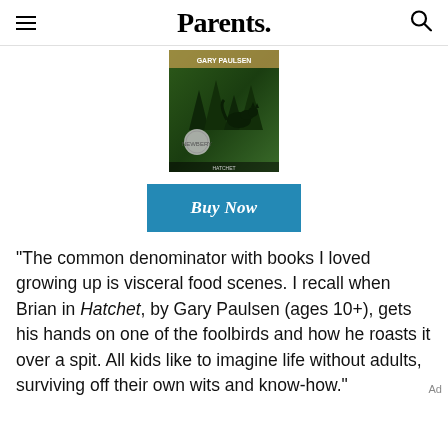Parents.
[Figure (photo): Book cover of Hatchet by Gary Paulsen — dark green forest background with a wolf silhouette and a Newbery Medal seal]
Buy Now
"The common denominator with books I loved growing up is visceral food scenes. I recall when Brian in Hatchet, by Gary Paulsen (ages 10+), gets his hands on one of the foolbirds and how he roasts it over a spit. All kids like to imagine life without adults, surviving off their own wits and know-how."